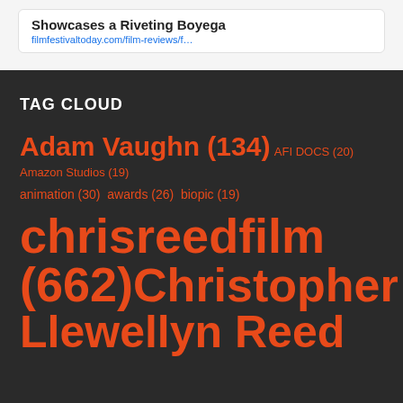Showcases a Riveting Boyega
filmfestivaltoday.com/film-reviews/f…
TAG CLOUD
Adam Vaughn (134) AFI DOCS (20) Amazon Studios (19)
animation (30) awards (26) biopic (19)
chrisreedfilm (662) Christopher Llewellyn Reed